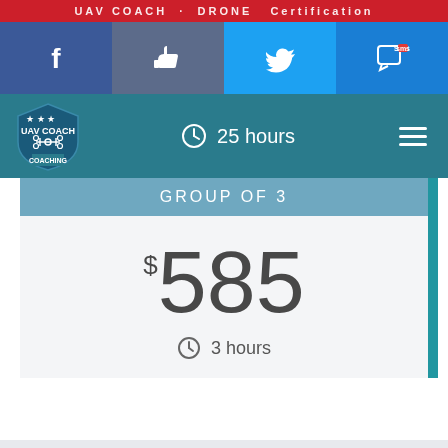UAV COACH · DRONE Certification
[Figure (screenshot): Social media share bar with Facebook, Like, Twitter, and SMS buttons]
UAV COACH logo · 25 hours · hamburger menu
GROUP OF 3
$585
3 hours
FLYING YOUR DRONE IN ARIZONA